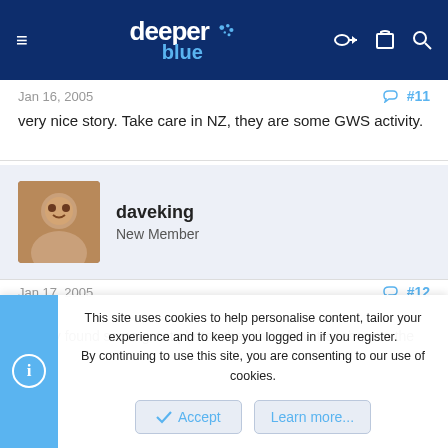deeper blue — website header navigation
Jan 16, 2005   #11
very nice story. Take care in NZ, they are some GWS activity.
daveking
New Member
Jan 17, 2005   #12
davo,
This site uses cookies to help personalise content, tailor your experience and to keep you logged in if you register.
By continuing to use this site, you are consenting to our use of cookies.